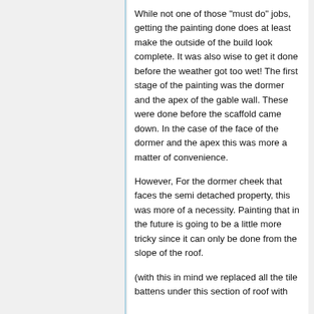While not one of those "must do" jobs, getting the painting done does at least make the outside of the build look complete. It was also wise to get it done before the weather got too wet! The first stage of the painting was the dormer and the apex of the gable wall. These were done before the scaffold came down. In the case of the face of the dormer and the apex this was more a matter of convenience.
However, For the dormer cheek that faces the semi detached property, this was more of a necessity. Painting that in the future is going to be a little more tricky since it can only be done from the slope of the roof.
(with this in mind we replaced all the tile battens under this section of roof with